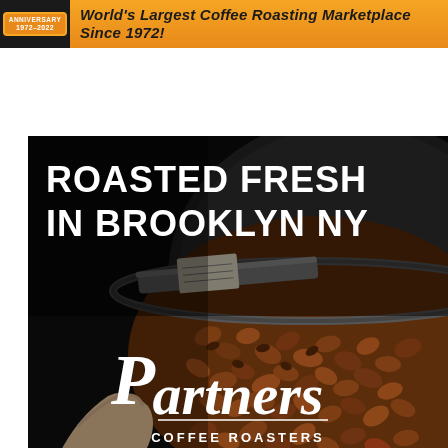World's Largest Coffee Roasting Marketplace Since 1972!
[Figure (photo): Dark background photo of coffee beans being roasted in Brooklyn NY, with a person's hand visible scooping beans from a large roasting drum. Overlaid with white bold text 'ROASTED FRESH IN BROOKLYN NY' and the Partners Coffee Roasters logo at the bottom center.]